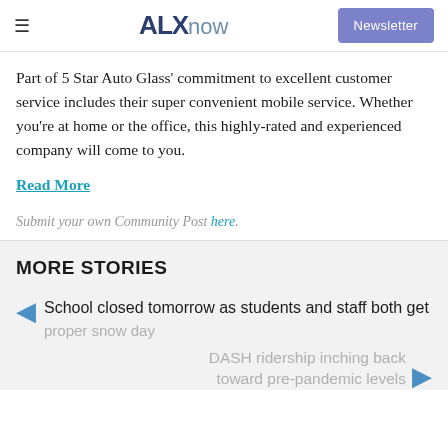ALXnow | Newsletter
Part of 5 Star Auto Glass' commitment to excellent customer service includes their super convenient mobile service. Whether you’re at home or the office, this highly-rated and experienced company will come to you.
Read More
Submit your own Community Post here.
MORE STORIES
School closed tomorrow as students and staff both get proper snow day
DASH ridership inching back toward pre-pandemic levels